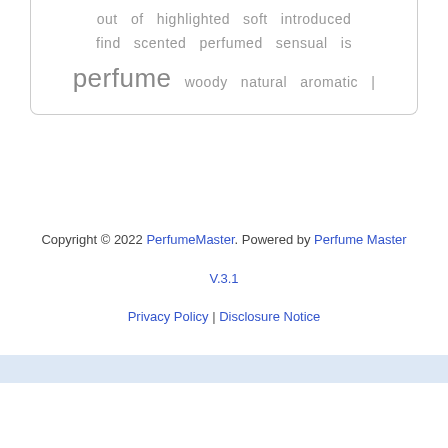[Figure (infographic): Word cloud box with perfume-related words: 'out of highlighted soft introduced find scented perfumed sensual is perfume woody natural aromatic |']
Copyright © 2022 PerfumeMaster. Powered by Perfume Master V.3.1
Privacy Policy | Disclosure Notice